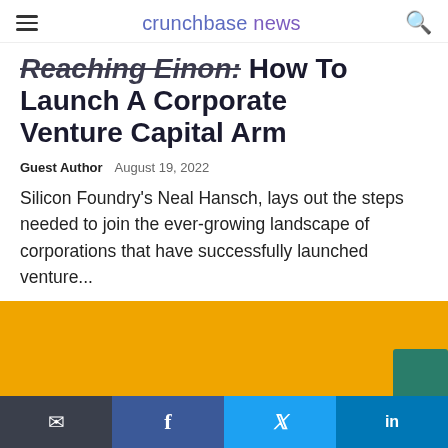crunchbase news
Reaching Einon: How To Launch A Corporate Venture Capital Arm
Guest Author   August 19, 2022
Silicon Foundry's Neal Hansch, lays out the steps needed to join the ever-growing landscape of corporations that have successfully launched venture...
[Figure (photo): Orange background image with a green rectangular element partially visible at bottom]
Email | Facebook | Twitter | LinkedIn social share buttons